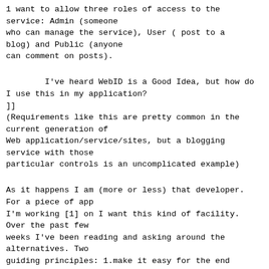1 want to allow three roles of access to the service: Admin (someone who can manage the service), User ( post to a blog) and Public (anyone can comment on posts).
I've heard WebID is a Good Idea, but how do I use this in my application?
]]
(Requirements like this are pretty common in the current generation of Web application/service/sites, but a blogging service with those particular controls is an uncomplicated example)
As it happens I am (more or less) that developer. For a piece of app I'm working [1] on I want this kind of facility. Over the past few weeks I've been reading and asking around the alternatives. Two guiding principles: 1.make it easy for the end user 2. wherever possible follow good practices. Three aspects stand out: authentication, authorization and sessions.
=== Authentication ===
Generally we're talking about having a username-password pair or